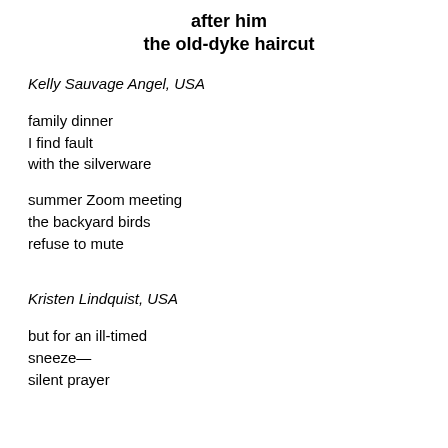after him
the old-dyke haircut
Kelly Sauvage Angel, USA
family dinner
I find fault
with the silverware
summer Zoom meeting
the backyard birds
refuse to mute
Kristen Lindquist, USA
but for an ill-timed
sneeze—
silent prayer